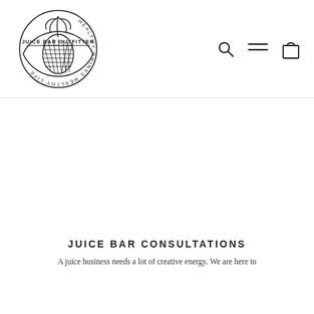[Figure (logo): Juice Bar Outfitter circular logo with pineapple illustration and text 'HEALTHY DRINKS HEALTHY LIFE' around the border]
[Figure (other): Navigation icons: search (magnifying glass), menu (hamburger lines), and shopping bag]
JUICE BAR CONSULTATIONS
A juice business needs a lot of creative energy. We are here to